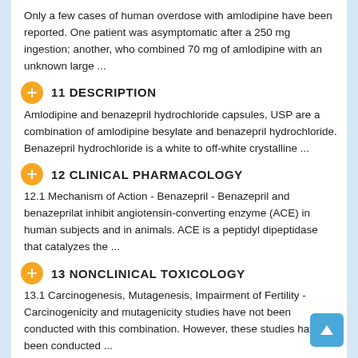Only a few cases of human overdose with amlodipine have been reported. One patient was asymptomatic after a 250 mg ingestion; another, who combined 70 mg of amlodipine with an unknown large ...
11 DESCRIPTION
Amlodipine and benazepril hydrochloride capsules, USP are a combination of amlodipine besylate and benazepril hydrochloride. Benazepril hydrochloride is a white to off-white crystalline ...
12 CLINICAL PHARMACOLOGY
12.1 Mechanism of Action - Benazepril - Benazepril and benazeprilat inhibit angiotensin-converting enzyme (ACE) in human subjects and in animals. ACE is a peptidyl dipeptidase that catalyzes the ...
13 NONCLINICAL TOXICOLOGY
13.1 Carcinogenesis, Mutagenesis, Impairment of Fertility - Carcinogenicity and mutagenicity studies have not been conducted with this combination. However, these studies have been conducted ...
14 CLINICAL STUDIES